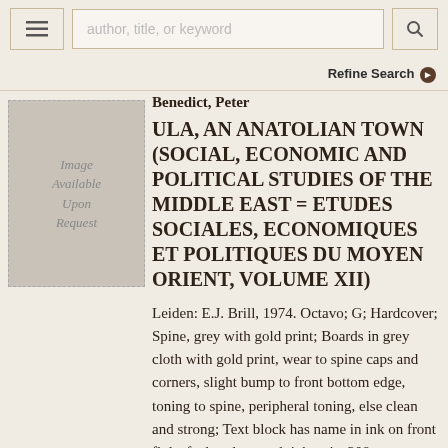author, title, or keyword [search bar] | Refine Search
[Figure (illustration): Placeholder image box with dashed border and italic text reading 'Image Available Upon Request' on grey background]
Benedict, Peter
ULA, AN ANATOLIAN TOWN (SOCIAL, ECONOMIC AND POLITICAL STUDIES OF THE MIDDLE EAST = ETUDES SOCIALES, ECONOMIQUES ET POLITIQUES DU MOYEN ORIENT, VOLUME XII)
Leiden: E.J. Brill, 1974. Octavo; G; Hardcover; Spine, grey with gold print; Boards in grey cloth with gold print, wear to spine caps and corners, slight bump to front bottom edge, toning to spine, peripheral toning, else clean and strong; Text block has name in ink on front flyleaf, else clean and tight; xiv, 208 pages, illustrated (9 b&w maps,1 folded). More >